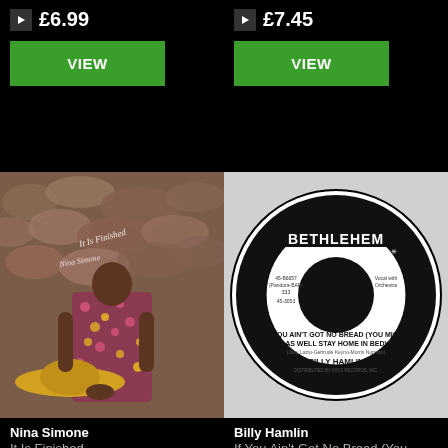£6.99
VIEW
£7.45
VIEW
[Figure (photo): Album cover for Nina Simone 'It Is Finished' showing a woman in a floral dress seated with a yellow hat, in front of a stone wall]
[Figure (photo): Bethlehem Records 7-inch vinyl label for Billy Hamlin 'If You Ain't Got No Bread (You Might As Well Stay Home In Bed)']
Nina Simone
It Is Finished
Format: LP
£15.99
VIEW
Billy Hamlin
If You Ain't Got No Bread (You Might As Well Stay Home In Bed)
Format: 7 inch
£6.99